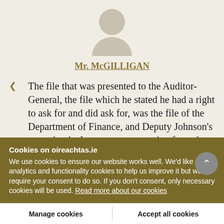[Figure (illustration): Silhouette avatar of a person (head and shoulders) in grey/tan color]
Mr. McGILLIGAN
The file that was presented to the Auditor-General, the file which he stated he had a right to ask for and did ask for, was the file of the Department of Finance, and Deputy Johnson's quotation is, I presume, a quotation from the officer
Cookies on oireachtas.ie
We use cookies to ensure our website works well. We'd like to use analytics and functionality cookies to help us improve it but we require your consent to do so. If you don't consent, only necessary cookies will be used. Read more about our cookies
Manage cookies
Accept all cookies